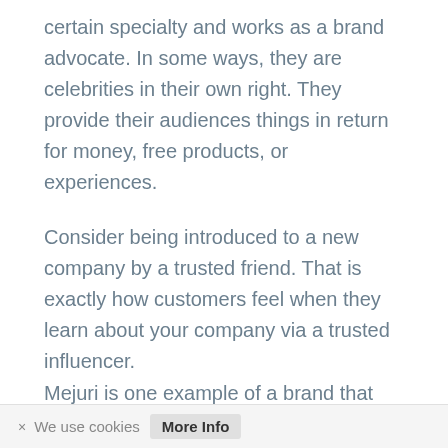certain specialty and works as a brand advocate. In some ways, they are celebrities in their own right. They provide their audiences things in return for money, free products, or experiences.
Consider being introduced to a new company by a trusted friend. That is exactly how customers feel when they learn about your company via a trusted influencer.
Mejuri is one example of a brand that has
× We use cookies  More Info